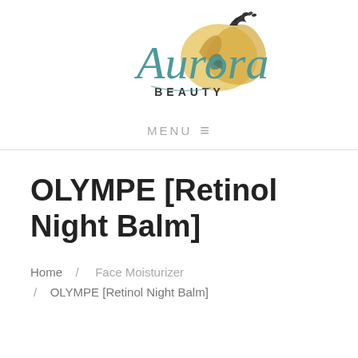[Figure (logo): Aurora Beauty logo with decorative script lettering and illustrated fox/flame illustration]
MENU ≡
OLYMPE [Retinol Night Balm]
Home / Face Moisturizer / OLYMPE [Retinol Night Balm]